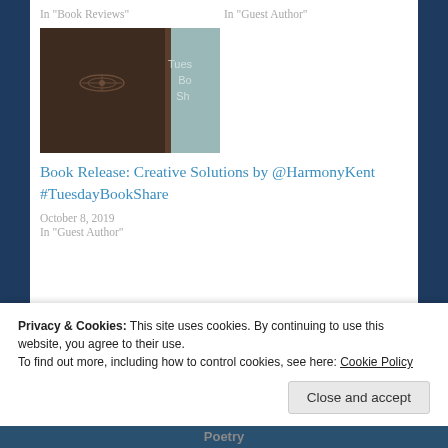In "Book Reviews"
In "Guest Author"
[Figure (photo): Photo of a dark brown journal/notebook with a floral embossed design on the cover, with text 'Tuesday Book Share' partially visible in the background on a light teal/grey surface.]
Book Release: Creative Solutions by @HarmonyKent #TuesdayBookShare
October 8, 2019
In "Guest Author"
Privacy & Cookies: This site uses cookies. By continuing to use this website, you agree to their use.
To find out more, including how to control cookies, see here: Cookie Policy
Close and accept
Poetry